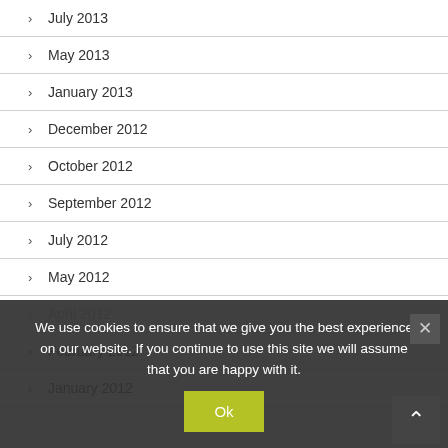July 2013
May 2013
January 2013
December 2012
October 2012
September 2012
July 2012
May 2012
April 2012
February 2012
January 2012
We use cookies to ensure that we give you the best experience on our website. If you continue to use this site we will assume that you are happy with it.